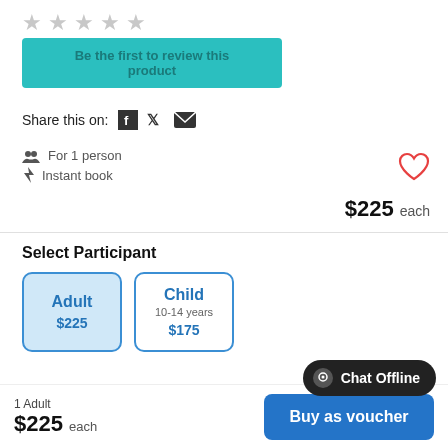[Figure (other): Five gray star rating icons (empty/unrated)]
Be the first to review this product
Share this on:
[Figure (other): Facebook, Twitter, and email share icons]
For 1 person
Instant book
[Figure (other): Red heart/favorite icon]
$225 each
Select Participant
Adult
$225
Child
10-14 years
$175
Chat Offline
Select Qty  1
1 Adult
$225 each
Buy as voucher